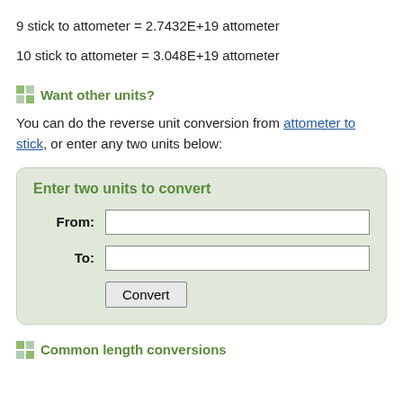9 stick to attometer = 2.7432E+19 attometer
10 stick to attometer = 3.048E+19 attometer
Want other units?
You can do the reverse unit conversion from attometer to stick, or enter any two units below:
Enter two units to convert
From: [input] To: [input] Convert [button]
Common length conversions